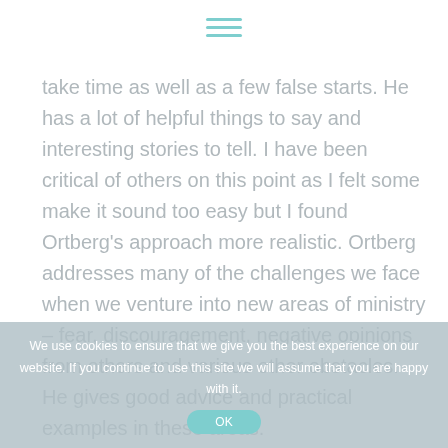≡
take time as well as a few false starts. He has a lot of helpful things to say and interesting stories to tell. I have been critical of others on this point as I felt some make it sound too easy but I found Ortberg's approach more realistic. Ortberg addresses many of the challenges we face when we venture into new areas of ministry – fear, discouragement, negative opinions from others and various other obstacles. He gives good advice and practical examples in these areas.

This book is like many of John Ortberg's books encouraging, down to earth, full of good stories and
We use cookies to ensure that we give you the best experience on our website. If you continue to use this site we will assume that you are happy with it.